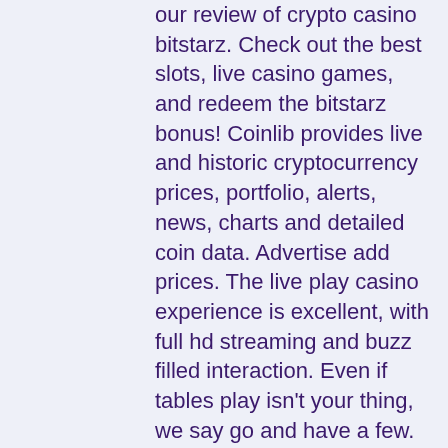our review of crypto casino bitstarz. Check out the best slots, live casino games, and redeem the bitstarz bonus! Coinlib provides live and historic cryptocurrency prices, portfolio, alerts, news, charts and detailed coin data. Advertise add prices. The live play casino experience is excellent, with full hd streaming and buzz filled interaction. Even if tables play isn't your thing, we say go and have a few. Everything on the bitstarz platform is well laid out and easy to find. The games are able to be sorted multiple ways, and they even have a search function. Navigation at bitstarz is intuitive and pleasant. From the bitstarz games to the excellent promotions and bonus. Thankfully, bitstarz hasn't cut any corners here either and our bitstarz bitcoin casino review was impressed with the range and quality of. "while bitstarz isn't a perfect online casino, it does a lot